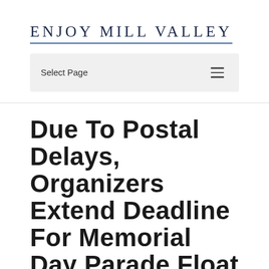ENJOY MILL VALLEY
Select Page
Due to Postal Delays, Organizers Extend Deadline for Memorial Day Parade Float Applications to May 25